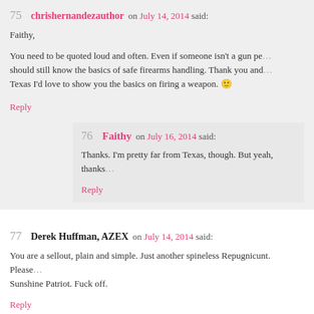75 chrishernandezauthor on July 14, 2014 said:
Faithy,
You need to be quoted loud and often. Even if someone isn't a gun person, they should still know the basics of safe firearms handling. Thank you and if you're ever in Texas I'd love to show you the basics on firing a weapon. 🙂
Reply
76 Faithy on July 16, 2014 said:
Thanks. I'm pretty far from Texas, though. But yeah, thanks.
Reply
77 Derek Huffman, AZEX on July 14, 2014 said:
You are a sellout, plain and simple. Just another spineless Repugnicunt. Please remove me as a Sunshine Patriot. Fuck off.
Reply
78 ...